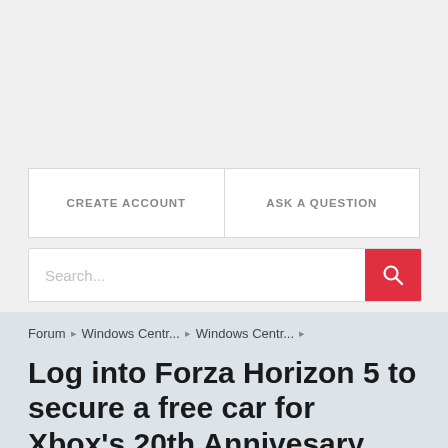[Figure (screenshot): Top gray area placeholder (advertisement/banner region)]
CREATE ACCOUNT
ASK A QUESTION
Search...
Forum ▶ Windows Centr... ▶ Windows Centr... ▶
Log into Forza Horizon 5 to secure a free car for Xbox's 20th Annivesary